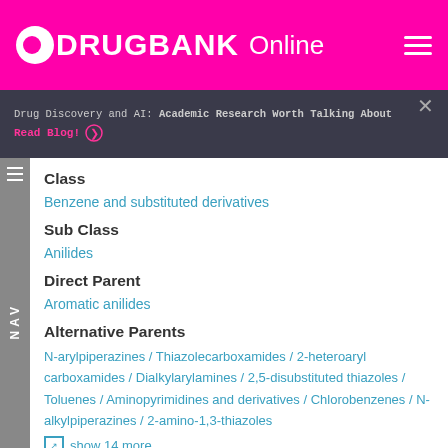DRUGBANK Online
Drug Discovery and AI: Academic Research Worth Talking About Read Blog!
Class
Benzene and substituted derivatives
Sub Class
Anilides
Direct Parent
Aromatic anilides
Alternative Parents
N-arylpiperazines / Thiazolecarboxamides / 2-heteroaryl carboxamides / Dialkylarylamines / 2,5-disubstituted thiazoles / Toluenes / Aminopyrimidines and derivatives / Chlorobenzenes / N-alkylpiperazines / 2-amino-1,3-thiazoles
show 14 more